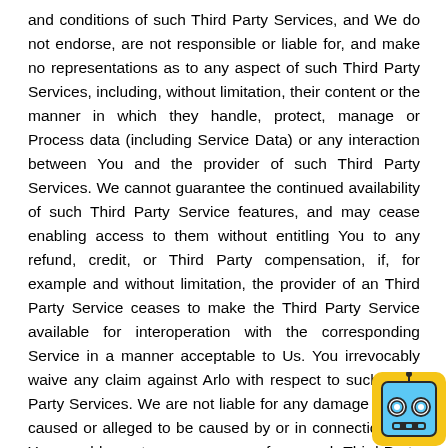and conditions of such Third Party Services, and We do not endorse, are not responsible or liable for, and make no representations as to any aspect of such Third Party Services, including, without limitation, their content or the manner in which they handle, protect, manage or Process data (including Service Data) or any interaction between You and the provider of such Third Party Services. We cannot guarantee the continued availability of such Third Party Service features, and may cease enabling access to them without entitling You to any refund, credit, or Third Party compensation, if, for example and without limitation, the provider of an Third Party Service ceases to make the Third Party Service available for interoperation with the corresponding Service in a manner acceptable to Us. You irrevocably waive any claim against Arlo with respect to such Third Party Services. We are not liable for any damage or loss caused or alleged to be caused by or in connection with Your enablement, access or use of any such Third Party Services. You irrevocably waive any interaction between
[Figure (illustration): A yellow square robot icon with a blue face, two circular eyes styled like camera lenses, and a small body, positioned in the bottom-right corner]